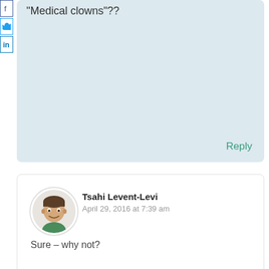“Medical clowns”??
Reply
Tsahi Levent-Levi
April 29, 2016 at 7:39 am
Sure – why not?
Reply
Comment
Your email address will not be published. Required